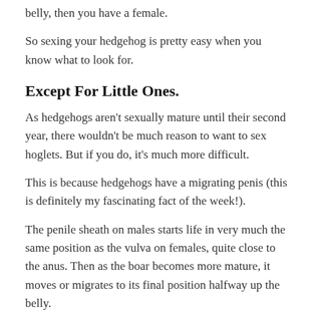belly, then you have a female.
So sexing your hedgehog is pretty easy when you know what to look for.
Except For Little Ones.
As hedgehogs aren't sexually mature until their second year, there wouldn't be much reason to want to sex hoglets. But if you do, it's much more difficult.
This is because hedgehogs have a migrating penis (this is definitely my fascinating fact of the week!).
The penile sheath on males starts life in very much the same position as the vulva on females, quite close to the anus. Then as the boar becomes more mature, it moves or migrates to its final position halfway up the belly.
So, deciding on hoglet gender is nigh on impossible, but probably rarely necessary anyway.